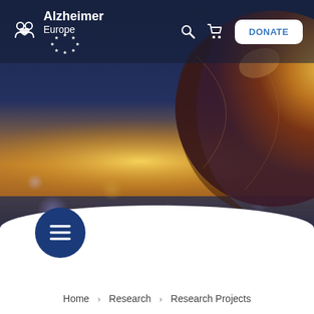[Figure (screenshot): Alzheimer Europe website header screenshot showing logo with EU stars, search icon, cart icon, DONATE button, a hero image with blurred sunset/cityscape background and a globe on the right side, a dark blue menu circle with hamburger icon, a white curved section at the bottom, and breadcrumb navigation reading Home > Research > Research Projects]
Home > Research > Research Projects